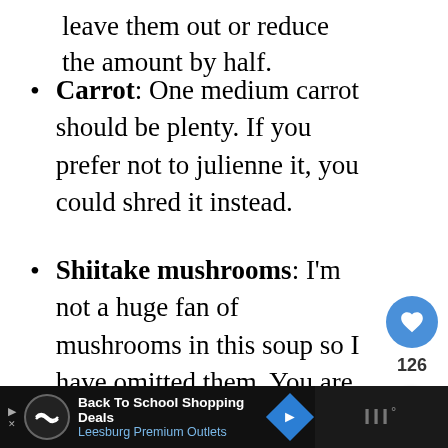leave them out or reduce the amount by half.
Carrot: One medium carrot should be plenty. If you prefer not to julienne it, you could shred it instead.
Shiitake mushrooms: I'm not a huge fan of mushrooms in this soup so I have omitted them. You are more than welcome to add them, however.
[Figure (infographic): Social media sidebar with heart/like button showing 126 likes and a share button]
[Figure (infographic): What's Next card showing Chipotle Chicken dish with a food photo]
[Figure (infographic): Advertisement banner for Back To School Shopping Deals at Leesburg Premium Outlets]